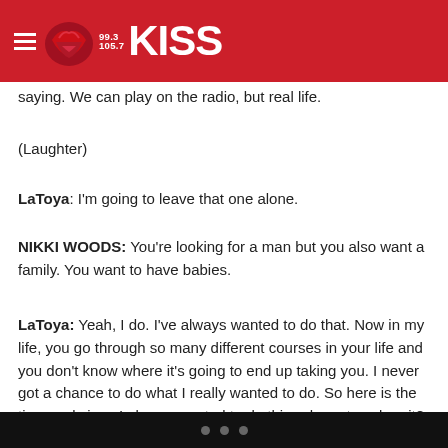99.3 / 105.7 KISS FM logo header
dates and dating. You should — are you married? Skip — I'm going to say it again. I got to go home. I'm just saying. We can play on the radio, but real life.
(Laughter)
LaToya: I'm going to leave that one alone.
NIKKI WOODS: You're looking for a man but you also want a family. You want to have babies.
LaToya: Yeah, I do. I've always wanted to do that. Now in my life, you go through so many different courses in your life and you don't know where it's going to end up taking you. I never got a chance to do what I really wanted to do. So here is the time and since I always wanted to do this, why not explore it?
• • •